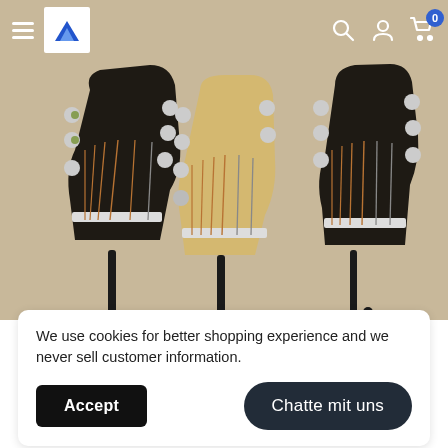Navigation bar with hamburger menu, logo, search icon, user icon, and cart icon with badge 0
[Figure (photo): Three guitar headstocks displayed on stands against a tan/beige background. Left: dark/black headstock with silver tuning pegs and copper strings. Center: cream/gold headstock with silver tuning pegs. Right: dark/black headstock with silver tuning pegs and copper strings.]
We use cookies for better shopping experience and we never sell customer information.
Accept
Chatte mit uns